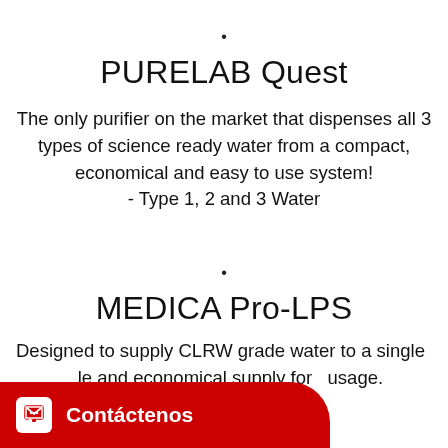•
PURELAB Quest
The only purifier on the market that dispenses all 3 types of science ready water from a compact, economical and easy to use system!
- Type 1, 2 and 3 Water
•
MEDICA Pro-LPS
Designed to supply CLRW grade water to a single ... le and economical supply for usage.